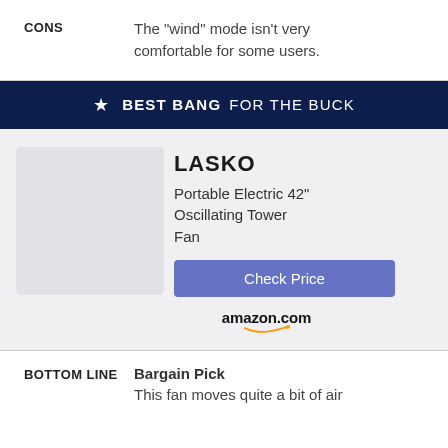CONS: The "wind" mode isn't very comfortable for some users.
★ BEST BANG FOR THE BUCK
LASKO
Portable Electric 42" Oscillating Tower Fan
Check Price
[Figure (logo): amazon.com logo with swoosh]
BOTTOM LINE: Bargain Pick — This fan moves quite a bit of air